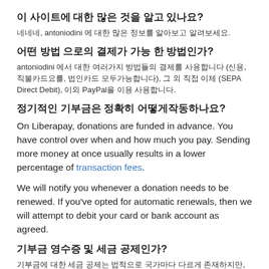이 사이트에 대한 많은 것을 알고 있나요?
네네네, antoniodini 에 대한 많은 정보를 알아보고 알려보세요.
어떤 방법 으로의 결제가 가능 한 방법인가?
antoniodini 에서 대한 여러가지 방법들의 결제를 사용합니다 (신용, 직불카드요를, 법인카드 모두가능합니다), 그 외 직접 이체 (SEPA Direct Debit), 이외 PayPal을 이용 사용합니다.
정기적인 기부금은 정확히 어떻게작동하나요?
On Liberapay, donations are funded in advance. You have control over when and how much you pay. Sending more money at once usually results in a lower percentage of transaction fees.
We will notify you whenever a donation needs to be renewed. If you've opted for automatic renewals, then we will attempt to debit your card or bank account as agreed.
기부금 영수증 및 세금 공제인가?
기부금에 대한 세금 공제는 법적으로 국가마다 다르게 존재하지만, 이 에 대한 영수증은 이메일 통하여 제공이 됩니다.
그 밖에도 더 알고싶다? 더 알아보겠습니다.